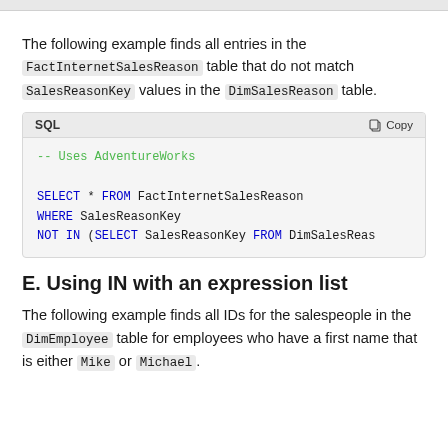The following example finds all entries in the FactInternetSalesReason table that do not match SalesReasonKey values in the DimSalesReason table.
[Figure (screenshot): SQL code block showing: -- Uses AdventureWorks
SELECT * FROM FactInternetSalesReason
WHERE SalesReasonKey
NOT IN (SELECT SalesReasonKey FROM DimSalesReason]
E. Using IN with an expression list
The following example finds all IDs for the salespeople in the DimEmployee table for employees who have a first name that is either Mike or Michael.